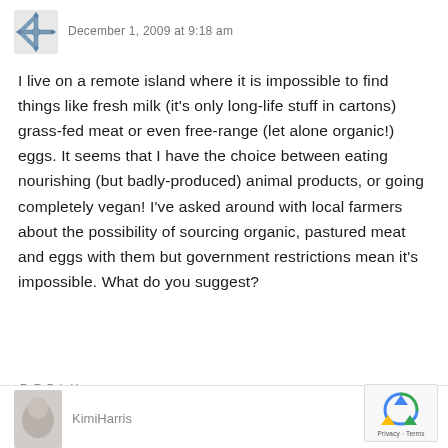[Figure (illustration): Snowflake-style avatar icon for commenter]
December 1, 2009 at 9:18 am
I live on a remote island where it is impossible to find things like fresh milk (it's only long-life stuff in cartons) grass-fed meat or even free-range (let alone organic!) eggs. It seems that I have the choice between eating nourishing (but badly-produced) animal products, or going completely vegan! I've asked around with local farmers about the possibility of sourcing organic, pastured meat and eggs with them but government restrictions mean it's impossible. What do you suggest?
REPLY
[Figure (illustration): Partial avatar image for KimiHarris commenter at bottom]
KimiHarris
[Figure (logo): reCAPTCHA badge with Privacy and Terms text]